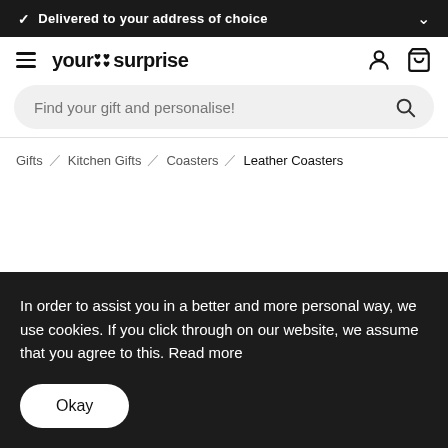✓ Delivered to your address of choice
[Figure (logo): YourSurprise website logo with hamburger menu, brand name 'your surprise' with heart icon, user icon, and cart icon]
Find your gift and personalise!
Gifts / Kitchen Gifts / Coasters / Leather Coasters
In order to assist you in a better and more personal way, we use cookies. If you click through on our website, we assume that you agree to this. Read more
Okay